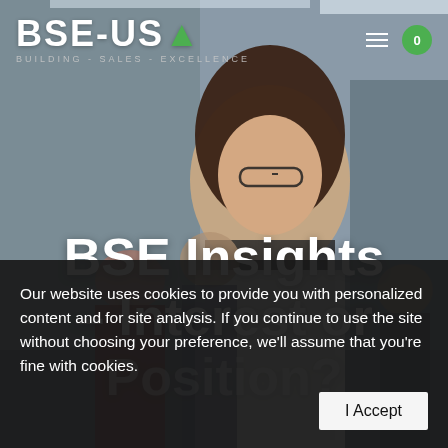[Figure (photo): Office background with a smiling woman with glasses and long dark hair in foreground wearing white blouse; two colleagues blurred in background]
BSE-USA BUILDING - SALES - EXCELLENCE
BSE Insights – Interest or Position?
Our website uses cookies to provide you with personalized content and for site analysis. If you continue to use the site without choosing your preference, we'll assume that you're fine with cookies.
I Accept